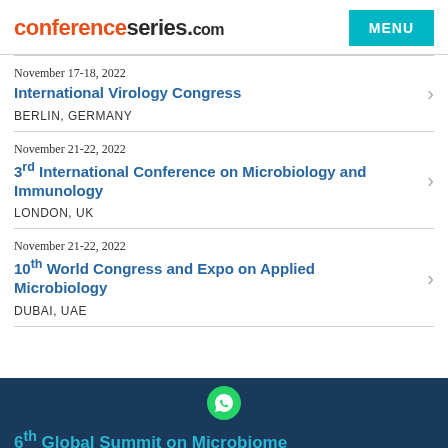conferenceseries.com
November 17-18, 2022
International Virology Congress
BERLIN, GERMANY
November 21-22, 2022
3rd International Conference on Microbiology and Immunology
LONDON, UK
November 21-22, 2022
10th World Congress and Expo on Applied Microbiology
DUBAI, UAE
6th Global Summit on Microbiome